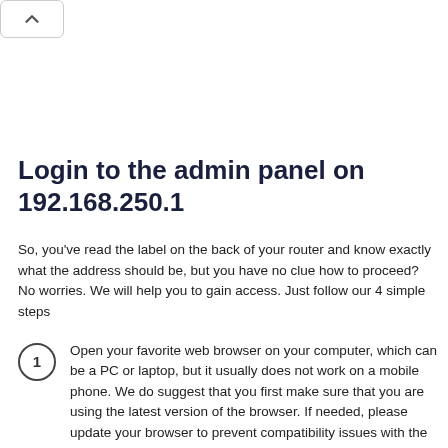[Figure (other): Back navigation button with upward chevron arrow]
Login to the admin panel on 192.168.250.1
So, you've read the label on the back of your router and know exactly what the address should be, but you have no clue how to proceed? No worries. We will help you to gain access. Just follow our 4 simple steps
Open your favorite web browser on your computer, which can be a PC or laptop, but it usually does not work on a mobile phone. We do suggest that you first make sure that you are using the latest version of the browser. If needed, please update your browser to prevent compatibility issues with the router interface.